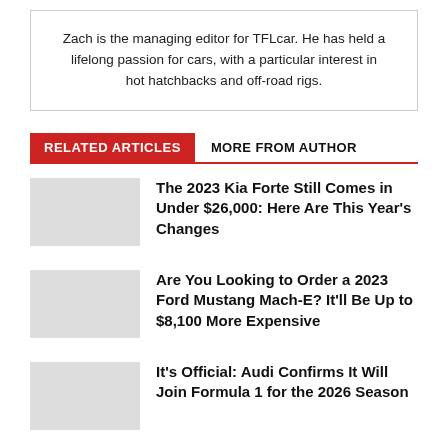Zach is the managing editor for TFLcar. He has held a lifelong passion for cars, with a particular interest in hot hatchbacks and off-road rigs.
RELATED ARTICLES
MORE FROM AUTHOR
The 2023 Kia Forte Still Comes in Under $26,000: Here Are This Year's Changes
Are You Looking to Order a 2023 Ford Mustang Mach-E? It'll Be Up to $8,100 More Expensive
It's Official: Audi Confirms It Will Join Formula 1 for the 2026 Season